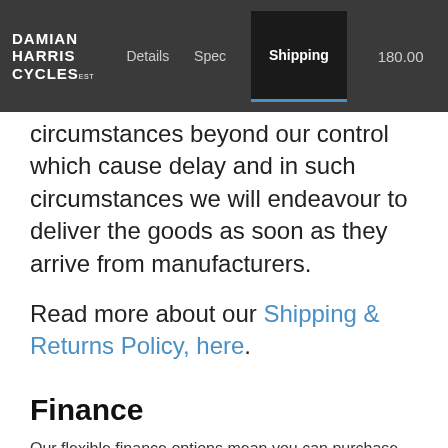DAMIAN HARRIS CYCLES | Details | Spec | Shipping | 180.00
circumstances beyond our control which cause delay and in such circumstances we will endeavour to deliver the goods as soon as they arrive from manufacturers.
Read more about our Shipping & Returns Policy, here.
Finance
Our flexible finance options mean you can purchase this product with a minimal deposit (or call us and arrange a